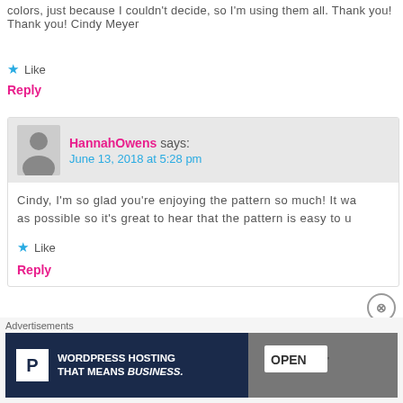colors, just because I couldn't decide, so I'm using them all. Thank you! Thank you! Cindy Meyer
★ Like
Reply
HannahOwens says: June 13, 2018 at 5:28 pm
Cindy, I'm so glad you're enjoying the pattern so much! It wa... as possible so it's great to hear that the pattern is easy to u...
★ Like
Reply
Els says: April 9, 2018 at 4:34 pm
Advertisements WORDPRESS HOSTING THAT MEANS BUSINESS.